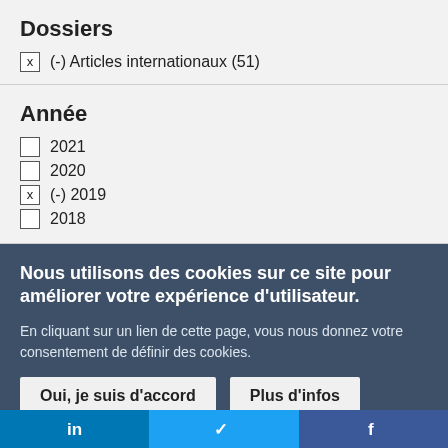Dossiers
x  (-) Articles internationaux (51)
Année
☐ 2021
☐ 2020
x  (-) 2019
☐ 2018
Nous utilisons des cookies sur ce site pour améliorer votre expérience d'utilisateur.
En cliquant sur un lien de cette page, vous nous donnez votre consentement de définir des cookies.
Oui, je suis d'accord   Plus d'infos